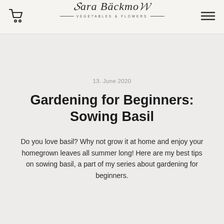Sara Bäckmo — VEGETABLES & FLOWERS
13. June 2020
Gardening for Beginners: Sowing Basil
Do you love basil? Why not grow it at home and enjoy your homegrown leaves all summer long! Here are my best tips on sowing basil, a part of my series about gardening for beginners.